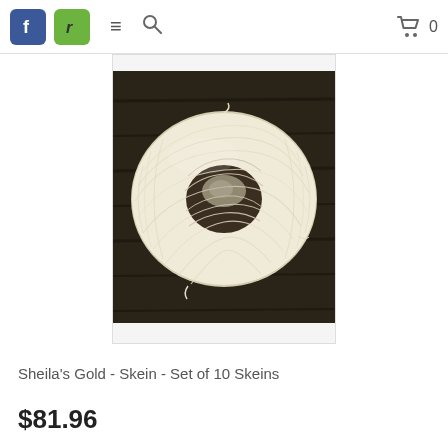navigation bar with Facebook icon, Ravelry icon, hamburger menu, search icon, cart icon, 0
[Figure (photo): A skein of cream/off-white yarn photographed from above on a dark wood background. The yarn is arranged in a circular coiled shape.]
Sheila's Gold - Skein - Set of 10 Skeins
$81.96